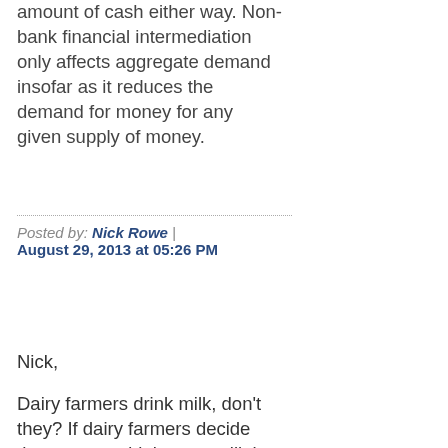amount of cash either way. Non-bank financial intermediation only affects aggregate demand insofar as it reduces the demand for money for any given supply of money.
Posted by: Nick Rowe | August 29, 2013 at 05:26 PM
Nick,
Dairy farmers drink milk, don't they? If dairy farmers decide they want to drink more milk but there's a price ceiling, they will sell less milk and buy less of everything else. If everyone